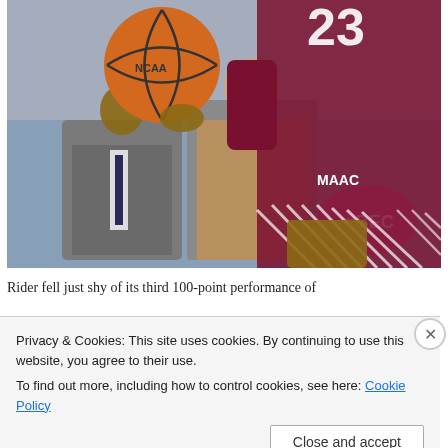[Figure (photo): Basketball player in dark red/maroon jersey number 23 with MAAC logo on shorts, dribbling a basketball. Spectators seated in background including a man in grey suit. Pink signage visible in background.]
Rider fell just shy of its third 100-point performance of
Privacy & Cookies: This site uses cookies. By continuing to use this website, you agree to their use.
To find out more, including how to control cookies, see here: Cookie Policy
Close and accept